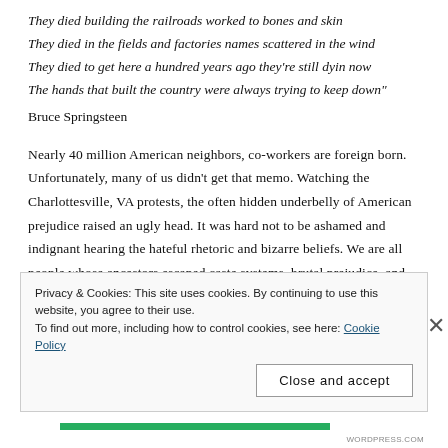They died building the railroads worked to bones and skin
They died in the fields and factories names scattered in the wind
They died to get here a hundred years ago they're still dyin now
The hands that built the country were always trying to keep down"
Bruce Springsteen
Nearly 40 million American neighbors, co-workers are foreign born. Unfortunately, many of us didn't get that memo. Watching the Charlottesville, VA protests, the often hidden underbelly of American prejudice raised an ugly head. It was hard not to be ashamed and indignant hearing the hateful rhetoric and bizarre beliefs. We are all people whose ancestors escaped caste systems, brutal prejudice, and pillaging to come here. We don't get to vanquish others and still pretend to be the good guys. Newsflash, people – there is no making America 'white' again; it never was in the first place. So those Neo-Nazi flags, the
Privacy & Cookies: This site uses cookies. By continuing to use this website, you agree to their use.
To find out more, including how to control cookies, see here: Cookie Policy
Close and accept